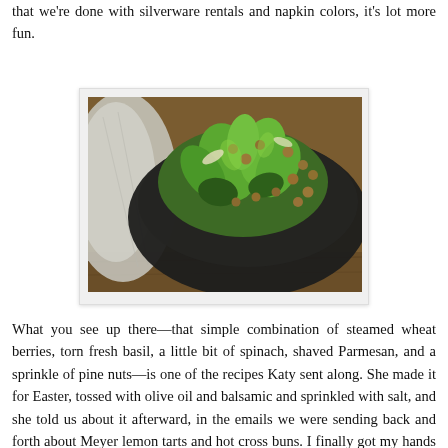that we're done with silverware rentals and napkin colors, it's lot more fun.
[Figure (photo): A dark bowl filled with a green salad containing wheat berries, torn fresh basil leaves, spinach, shaved Parmesan, and pine nuts, photographed on a wooden surface with a cloth napkin in the background.]
What you see up there—that simple combination of steamed wheat berries, torn fresh basil, a little bit of spinach, shaved Parmesan, and a sprinkle of pine nuts—is one of the recipes Katy sent along. She made it for Easter, tossed with olive oil and balsamic and sprinkled with salt, and she told us about it afterward, in the emails we were sending back and forth about Meyer lemon tarts and hot cross buns. I finally got my hands on a bag of fresh basil at the winter farmers' market last week in Marstons Mills, and this afternoon, it was the